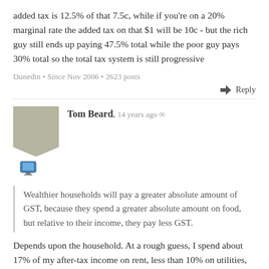added tax is 12.5% of that 7.5c, while if you're on a 20% marginal rate the added tax on that $1 will be 10c - but the rich guy still ends up paying 47.5% total while the poor guy pays 30% total so the total tax system is still progressive
Dunedin • Since Nov 2006 • 2623 posts
Reply
Tom Beard, 14 years ago ∞
Wealthier households will pay a greater absolute amount of GST, because they spend a greater absolute amount on food, but relative to their income, they pay less GST.
Depends upon the household. At a rough guess, I spend about 17% of my after-tax income on rent, less than 10% on utilities, 10% or so on clothes, books etc, and the rest on food and drink. Well, drink mostly.
But I'm not sure about how certain things would